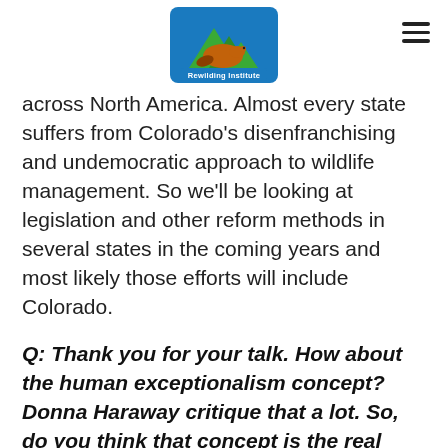[Figure (logo): Rewilding Institute logo with mountain and animal graphic in a blue/green square badge]
across North America. Almost every state suffers from Colorado’s disenfranchising and undemocratic approach to wildlife management. So we’ll be looking at legislation and other reform methods in several states in the coming years and most likely those efforts will include Colorado.
Q: Thank you for your talk. How about the human exceptionalism concept? Donna Haraway critique that a lot. So, do you think that concept is the real issue behind the success of a coexistence project?
A: I do believe that the notion of human